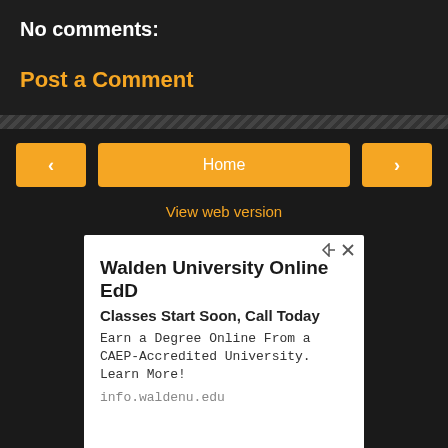No comments:
Post a Comment
Home
View web version
[Figure (screenshot): Advertisement for Walden University Online EdD. Title: 'Walden University Online EdD', subtitle: 'Classes Start Soon, Call Today', body: 'Earn a Degree Online From a CAEP-Accredited University. Learn More!', url: 'info.waldenu.edu', with an OPEN button at the bottom.]